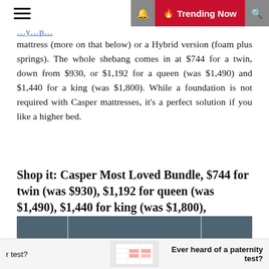☰  🔔  🔥 Trending Now  🔍
mattress (more on that below) or a Hybrid version (foam plus springs). The whole shebang comes in at $744 for a twin, down from $930, or $1,192 for a queen (was $1,490) and $1,440 for a king (was $1,800). While a foundation is not required with Casper mattresses, it's a perfect solution if you like a higher bed.
Shop it: Casper Most Loved Bundle, $744 for twin (was $930), $1,192 for queen (was $1,490), $1,440 for king (was $1,800), casper.com
[Figure (photo): Bedroom scene with dark blue-grey walls, a bed with grey pillows and bedding, two pendant dome lamps hanging on either side]
r test?  Ever heard of a paternity test?